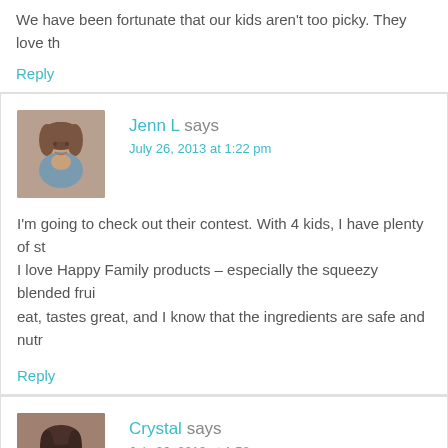We have been fortunate that our kids aren't too picky. They love th
Reply
[Figure (photo): Avatar photo of Jenn L, a woman with brown hair smiling]
Jenn L says
July 26, 2013 at 1:22 pm
I'm going to check out their contest. With 4 kids, I have plenty of st I love Happy Family products – especially the squeezy blended frui eat, tastes great, and I know that the ingredients are safe and nutr
Reply
[Figure (photo): Avatar photo of Crystal, a woman with dark hair]
Crystal says
July 26, 2013 at 1:58 pm
What a fun contest and such a great way to turn the hassle that d
Reply